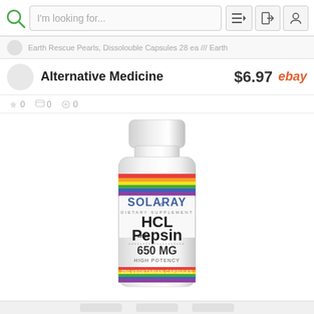I'm looking for...
Earth Rescue Pearls, Dissolouble Capsules 28 ea /// Earth   Alternative Medicine   $6.97   ebay
[Figure (photo): Solaray HCL with Pepsin 650 MG High Potency 250 Vegetarian Capsules supplement bottle with rainbow label]